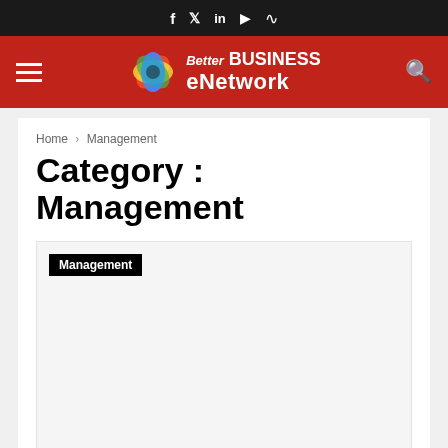f  𝕏  in  ▶  RSS — social icons bar
[Figure (logo): Better BUSINESS eNetwork logo with colorful flower icon on red header background with hamburger menu and search icon]
Home › Management
Category : Management
Management